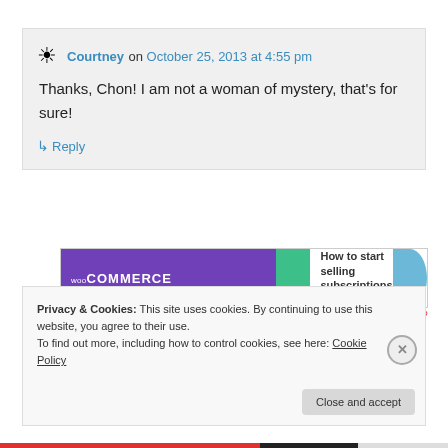Courtney on October 25, 2013 at 4:55 pm
Thanks, Chon! I am not a woman of mystery, that's for sure!
↳ Reply
[Figure (screenshot): WooCommerce advertisement banner: How to start selling subscriptions online]
Privacy & Cookies: This site uses cookies. By continuing to use this website, you agree to their use. To find out more, including how to control cookies, see here: Cookie Policy